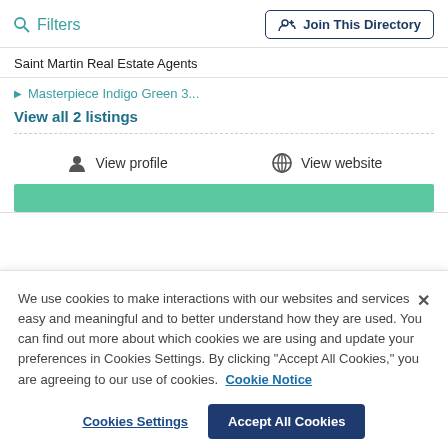Filters | Join This Directory
Saint Martin Real Estate Agents
▶ Masterpiece Indigo Green 3...
View all 2 listings
View profile   View website
We use cookies to make interactions with our websites and services easy and meaningful and to better understand how they are used. You can find out more about which cookies we are using and update your preferences in Cookies Settings. By clicking "Accept All Cookies," you are agreeing to our use of cookies. Cookie Notice
Cookies Settings
Accept All Cookies